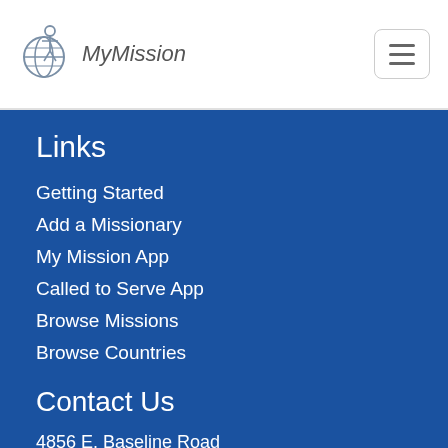My Mission
Links
Getting Started
Add a Missionary
My Mission App
Called to Serve App
Browse Missions
Browse Countries
Contact Us
4856 E. Baseline Road
Suite 104
Mesa, Arizona 85206